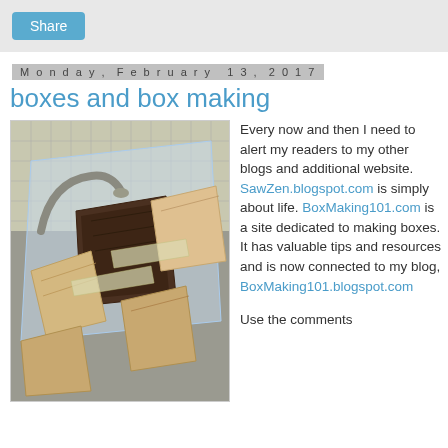Share
Monday, February 13, 2017
boxes and box making
[Figure (photo): Photograph of various wooden box pieces/panels scattered on a kitchen counter near a sink, showing different wood grains including dark walnut and lighter woods.]
Every now and then I need to alert my readers to my other blogs and additional website. SawZen.blogspot.com is simply about life. BoxMaking101.com is a site dedicated to making boxes. It has valuable tips and resources and is now connected to my blog, BoxMaking101.blogspot.com

Use the comments